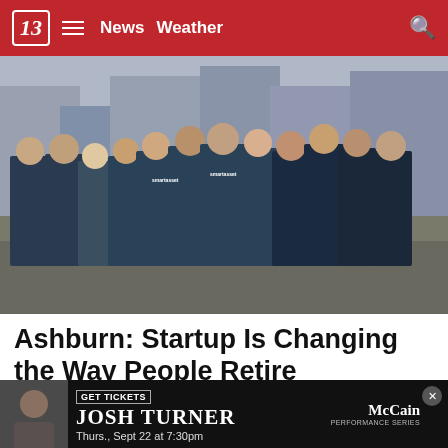13 News | Weather
[Figure (photo): Group of people standing on a city street wearing SmartAsset branded t-shirts]
Ashburn: Startup Is Changing the Way People Retire
SmartAsset | Sponsored
[Figure (other): Advertisement banner for Josh Turner concert: GET TICKETS, Thurs., Sept 22 at 7:30pm, McCain Performance Series]